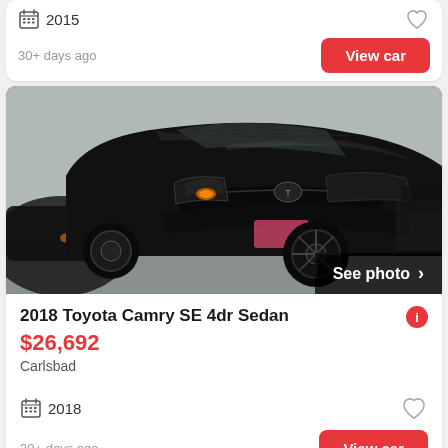2015
30+ days ago
[Figure (photo): Black 2018 Toyota Camry SE 4dr Sedan photographed at a dealer lot, front 3/4 view, with 'See photo >' overlay button]
2018 Toyota Camry SE 4dr Sedan
$26,692
Carlsbad
2018
30+ days ago